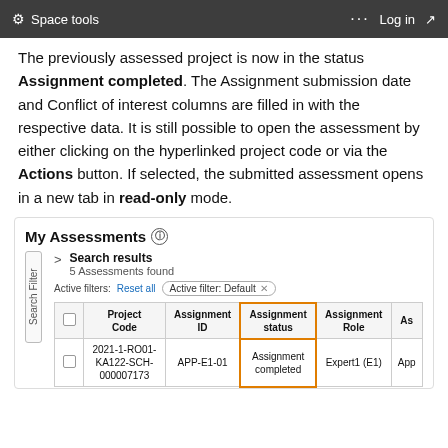Space tools  ···  Log in
The previously assessed project is now in the status Assignment completed. The Assignment submission date and Conflict of interest columns are filled in with the respective data. It is still possible to open the assessment by either clicking on the hyperlinked project code or via the Actions button. If selected, the submitted assessment opens in a new tab in read-only mode.
[Figure (screenshot): Screenshot of 'My Assessments' interface showing a table with columns: Project Code, Assignment ID, Assignment status (highlighted in orange border), Assignment Role, and a partially visible column. One row shows: 2021-1-RO01-KA122-SCH-000007173, APP-E1-01, Assignment completed, Expert1 (E1). Above the table: Search results showing 5 Assessments found, with Active filters: Default filter pill and Reset all link. A Search Filter sidebar label is visible on the left.]